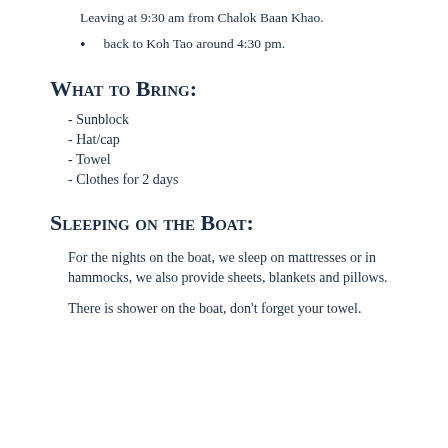Leaving at 9:30 am from Chalok Baan Khao.
back to Koh Tao around 4:30 pm.
What to Bring:
- Sunblock
- Hat/cap
- Towel
- Clothes for 2 days
Sleeping on the Boat:
For the nights on the boat, we sleep on mattresses or in hammocks, we also provide sheets, blankets and pillows.
There is shower on the boat, don't forget your towel.